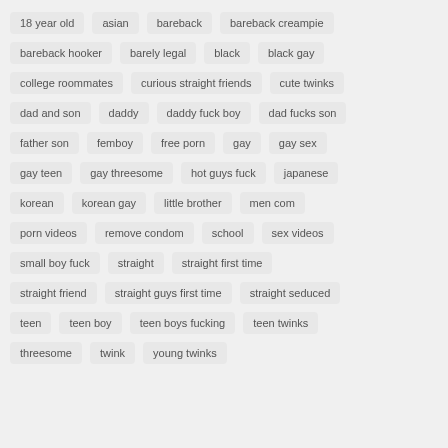18 year old
asian
bareback
bareback creampie
bareback hooker
barely legal
black
black gay
college roommates
curious straight friends
cute twinks
dad and son
daddy
daddy fuck boy
dad fucks son
father son
femboy
free porn
gay
gay sex
gay teen
gay threesome
hot guys fuck
japanese
korean
korean gay
little brother
men com
porn videos
remove condom
school
sex videos
small boy fuck
straight
straight first time
straight friend
straight guys first time
straight seduced
teen
teen boy
teen boys fucking
teen twinks
threesome
twink
young twinks